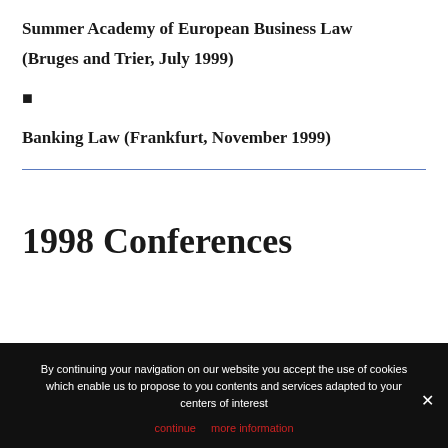Summer Academy of European Business Law
(Bruges and Trier, July 1999)
■
Banking Law (Frankfurt, November 1999)
1998 Conferences
By continuing your navigation on our website you accept the use of cookies which enable us to propose to you contents and services adapted to your centers of interest
continue   more information